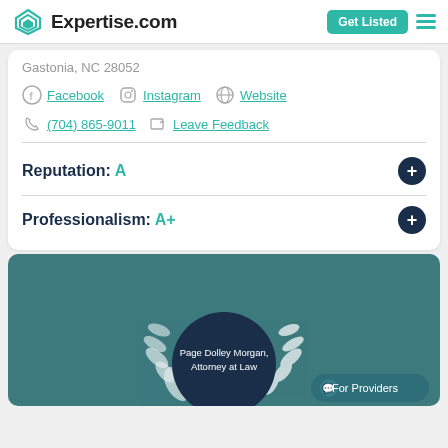Expertise.com | Get Listed
Gastonia, NC 28052
Facebook  Instagram  Website
(704) 865-9011  Leave Feedback
Reputation: A
Professionalism: A+
[Figure (logo): Page Dolley Morgan, Attorney at Law badge circle with laurel wreath on teal background, with For Providers chat button]